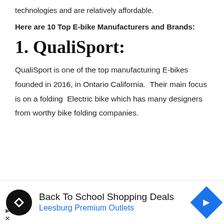technologies and are relatively affordable.
Here are 10 Top E-bike Manufacturers and Brands:
1.  QualiSport:
QualiSport is one of the top manufacturing E-bikes founded in 2016, in Ontario California.  Their main focus is on a folding  Electric bike which has many designers from worthy bike folding companies.
[Figure (screenshot): Screenshot of QualiSports website showing navigation bar with logo, menu items (Home, Folding Bikes, Accessories, Deals, etc.) and a cart button, with a green nature/outdoor image strip below.]
[Figure (infographic): Advertisement banner: Back To School Shopping Deals at Leesburg Premium Outlets, with a black circular logo with double arrow symbol on the left and a blue diamond-shaped navigation icon on the right.]